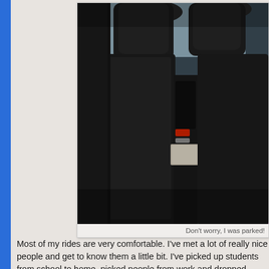[Figure (photo): Interior view of a car from the driver's perspective looking into the back seat. Black car seats are visible. A person with long blonde hair and a purple/magenta top is seated in the front passenger seat on the right side.]
Don't worry, I was parked!
Most of my rides are very comfortable. I've met a lot of really nice people and get to know them a little bit. I've picked up students from school to home, picked people from work and dropped others off at work. I've picked up a...